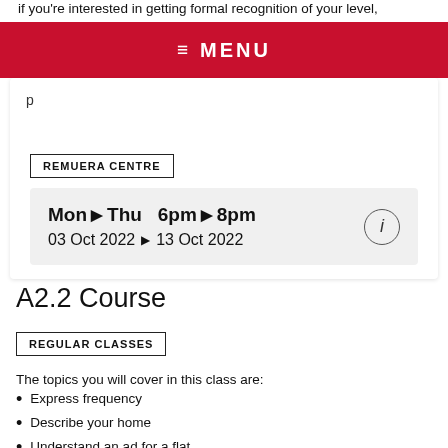If you're interested in getting formal recognition of your level,
≡ MENU
p
REMUERA CENTRE
Mon ▶ Thu   6pm ▶ 8pm
03 Oct 2022 ▶ 13 Oct 2022
A2.2 Course
REGULAR CLASSES
The topics you will cover in this class are:
Express frequency
Describe your home
Understand an ad for a flat
Give directions (2)